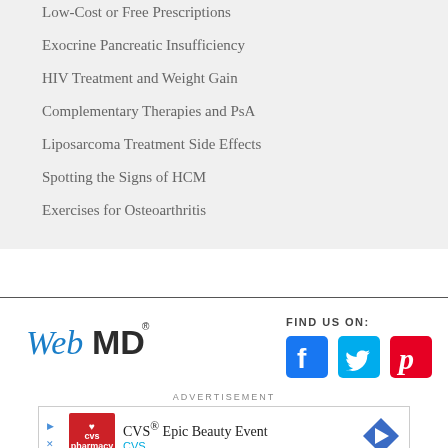Low-Cost or Free Prescriptions
Exocrine Pancreatic Insufficiency
HIV Treatment and Weight Gain
Complementary Therapies and PsA
Liposarcoma Treatment Side Effects
Spotting the Signs of HCM
Exercises for Osteoarthritis
[Figure (logo): WebMD logo in blue and dark blue italic/bold lettering]
FIND US ON:
[Figure (infographic): Social media icons: Facebook (blue square), Twitter (cyan bird), Pinterest (red P)]
ADVERTISEMENT
[Figure (screenshot): CVS advertisement banner: CVS Epic Beauty Event with CVS logo and navigation arrow icon]